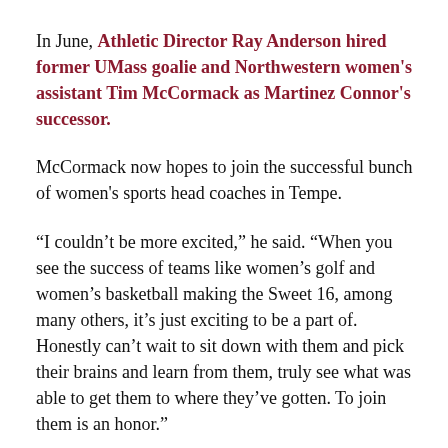In June, Athletic Director Ray Anderson hired former UMass goalie and Northwestern women's assistant Tim McCormack as Martinez Connor's successor.
McCormack now hopes to join the successful bunch of women's sports head coaches in Tempe.
“I couldn’t be more excited,” he said. “When you see the success of teams like women’s golf and women’s basketball making the Sweet 16, among many others, it’s just exciting to be a part of. Honestly can’t wait to sit down with them and pick their brains and learn from them, truly see what was able to get them to where they’ve gotten. To join them is an honor.”
During his player career as a Minuteman, he earned an